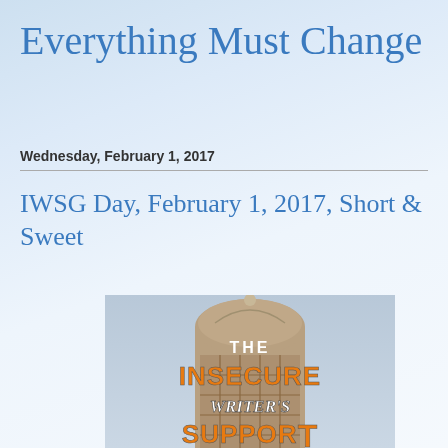Everything Must Change
Wednesday, February 1, 2017
IWSG Day, February 1, 2017, Short & Sweet
[Figure (logo): The Insecure Writer's Support Group logo badge with orange and white bold text over a sepia-toned building/tower background]